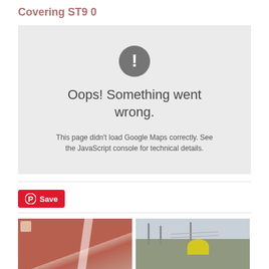Covering ST9 0
[Figure (other): Google Maps error box with grey background showing exclamation mark icon and error messages: 'Oops! Something went wrong.' and 'This page didn't load Google Maps correctly. See the JavaScript console for technical details.']
[Figure (other): Pinterest Save button with red background and white 'P' logo and 'Save' text]
[Figure (photo): Left photo showing red tarmac playground surface with white line stripe]
[Figure (photo): Right photo showing a park scene with bare trees and a yellow dome structure]